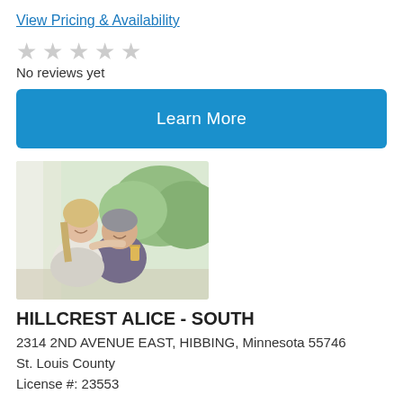View Pricing & Availability
★★★★★ No reviews yet
Learn More
[Figure (photo): Photo of a young female caregiver smiling and leaning toward an elderly woman who is smiling and holding a glass of orange juice, outdoors with green trees in background.]
HILLCREST ALICE - SOUTH
2314 2ND AVENUE EAST, HIBBING, Minnesota 55746
St. Louis County
License #: 23553